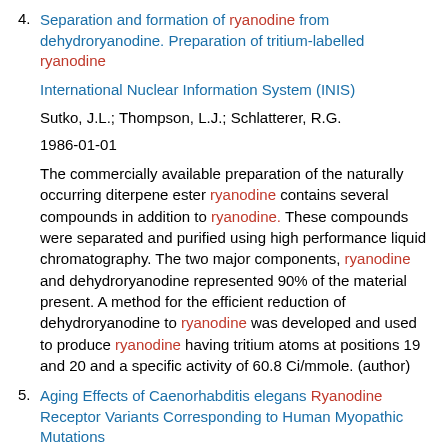4. Separation and formation of ryanodine from dehydroryanodine. Preparation of tritium-labelled ryanodine
International Nuclear Information System (INIS)
Sutko, J.L.; Thompson, L.J.; Schlatterer, R.G.
1986-01-01
The commercially available preparation of the naturally occurring diterpene ester ryanodine contains several compounds in addition to ryanodine. These compounds were separated and purified using high performance liquid chromatography. The two major components, ryanodine and dehydroryanodine represented 90% of the material present. A method for the efficient reduction of dehydroryanodine to ryanodine was developed and used to produce ryanodine having tritium atoms at positions 19 and 20 and a specific activity of 60.8 Ci/mmole. (author)
5. Aging Effects of Caenorhabditis elegans Ryanodine Receptor Variants Corresponding to Human Myopathic Mutations
Directory of Open Access Journals (Sweden)